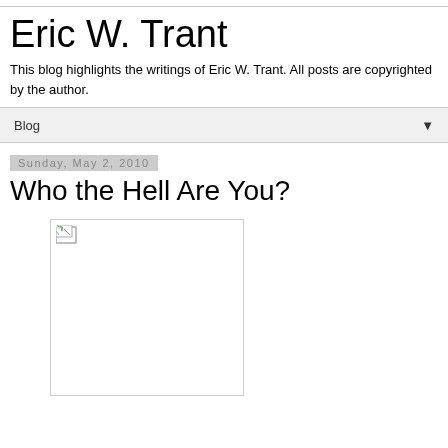Eric W. Trant
This blog highlights the writings of Eric W. Trant. All posts are copyrighted by the author.
Blog ▼
Sunday, May 2, 2010
Who the Hell Are You?
[Figure (photo): Broken/missing image placeholder with small broken image icon in upper left corner]